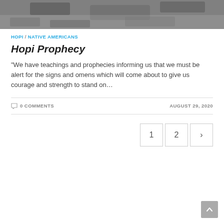[Figure (photo): Black and white rocky landscape photo at the top of the page]
HOPI / NATIVE AMERICANS
Hopi Prophecy
"We have teachings and prophecies informing us that we must be alert for the signs and omens which will come about to give us courage and strength to stand on…
0 COMMENTS
AUGUST 29, 2020
1
2
›